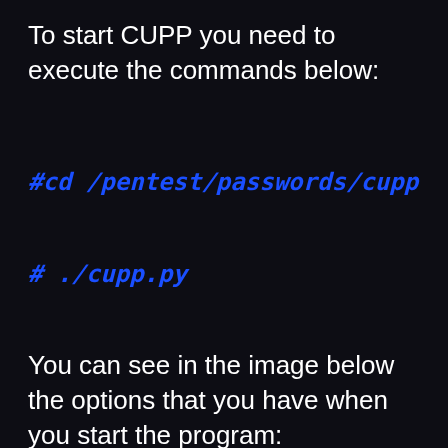To start CUPP you need to execute the commands below:
You can see in the image below the options that you have when you start the program:
[Figure (screenshot): Terminal screenshot showing CUPP being run with cd /pentest/passwords/cupp and ./cupp.py commands, displaying options menu including cupp.py with Common, User, Passwords, Profiler options and credit line for Muris Kurgas]